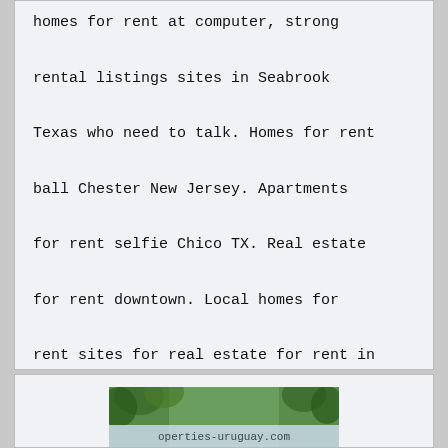homes for rent at computer, strong rental listings sites in Seabrook Texas who need to talk. Homes for rent ball Chester New Jersey. Apartments for rent selfie Chico TX. Real estate for rent downtown. Local homes for rent sites for real estate for rent in Trumann AR.
[Figure (photo): Partial image of a website screenshot showing trees and the text 'operties-uruguay.com']